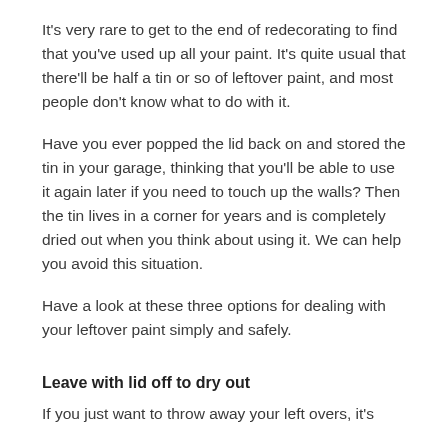It's very rare to get to the end of redecorating to find that you've used up all your paint. It's quite usual that there'll be half a tin or so of leftover paint, and most people don't know what to do with it.
Have you ever popped the lid back on and stored the tin in your garage, thinking that you'll be able to use it again later if you need to touch up the walls? Then the tin lives in a corner for years and is completely dried out when you think about using it. We can help you avoid this situation.
Have a look at these three options for dealing with your leftover paint simply and safely.
Leave with lid off to dry out
If you just want to throw away your left overs, it's